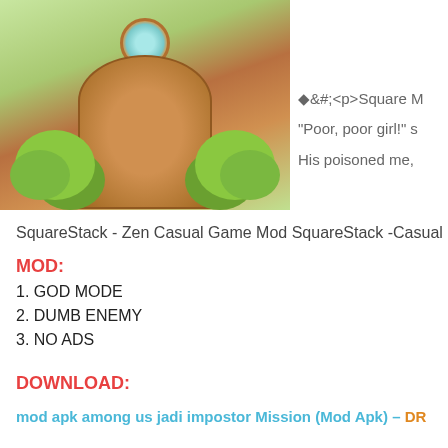[Figure (screenshot): Game screenshot showing a round wooden door with circular blue gem, surrounded by green bushes and light background]
◆&#;<p>Square M
"Poor, poor girl!" s
His poisoned me,
SquareStack - Zen Casual Game Mod SquareStack -Casual Revo
MOD:
1. GOD MODE
2. DUMB ENEMY
3. NO ADS
DOWNLOAD:
mod apk among us jadi impostor Mission (Mod Apk) – DR